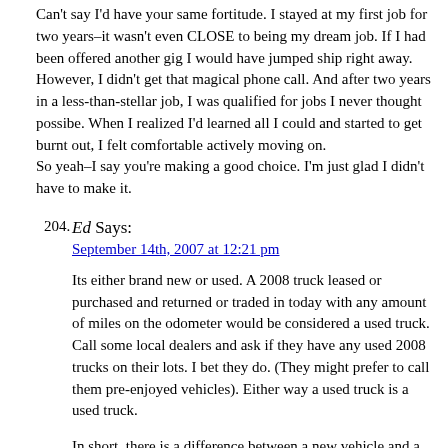Can't say I'd have your same fortitude. I stayed at my first job for two years–it wasn't even CLOSE to being my dream job. If I had been offered another gig I would have jumped ship right away.
However, I didn't get that magical phone call. And after two years in a less-than-stellar job, I was qualified for jobs I never thought possibe. When I realized I'd learned all I could and started to get burnt out, I felt comfortable actively moving on.
So yeah–I say you're making a good choice. I'm just glad I didn't have to make it.
204. Ed Says:
September 14th, 2007 at 12:21 pm
Its either brand new or used. A 2008 truck leased or purchased and returned or traded in today with any amount of miles on the odometer would be considered a used truck. Call some local dealers and ask if they have any used 2008 trucks on their lots. I bet they do. (They might prefer to call them pre-enjoyed vehicles). Either way a used truck is a used truck.
In short, there is a difference between a new vehicle and a brand new vehicle and it is important to make that distinction in your automotive vocabulary.